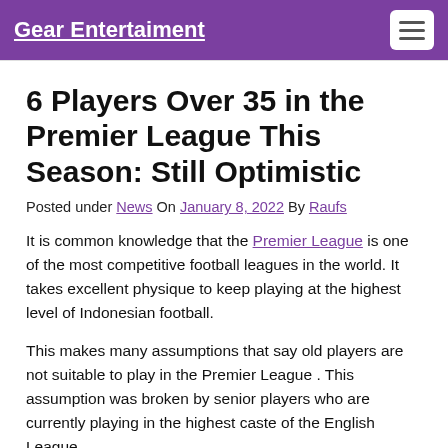Gear Entertaiment
6 Players Over 35 in the Premier League This Season: Still Optimistic
Posted under News On January 8, 2022 By Raufs
It is common knowledge that the Premier League is one of the most competitive football leagues in the world. It takes excellent physique to keep playing at the highest level of Indonesian football.
This makes many assumptions that say old players are not suitable to play in the Premier League . This assumption was broken by senior players who are currently playing in the highest caste of the English League.